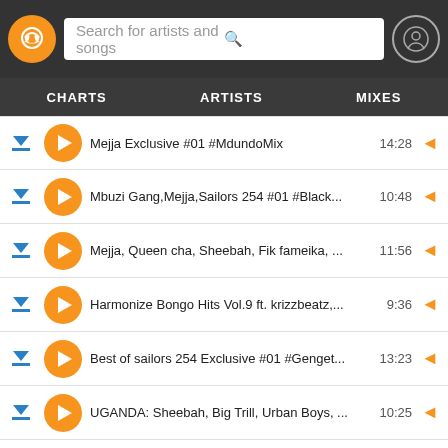Search for artists and songs | CHARTS | ARTISTS | MIXES
Mejja Exclusive #01 #MdundoMix
Mbuzi Gang,Mejja,Sailors 254 #01 #Black...
Mejja, Queen cha, Sheebah, Fik fameika, ...
Harmonize Bongo Hits Vol.9 ft. krizzbeatz,...
Best of sailors 254 Exclusive #01 #Genget...
UGANDA: Sheebah, Big Trill, Urban Boys, ...
Best of Wakadinali #01 #ExclusiveMixes #...